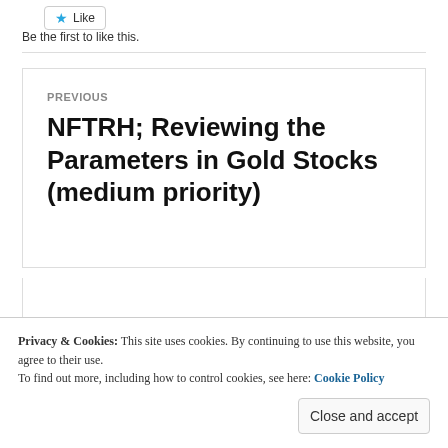[Figure (other): Like button with blue star icon]
Be the first to like this.
PREVIOUS
NFTRH; Reviewing the Parameters in Gold Stocks (medium priority)
Privacy & Cookies: This site uses cookies. By continuing to use this website, you agree to their use. To find out more, including how to control cookies, see here: Cookie Policy
Close and accept